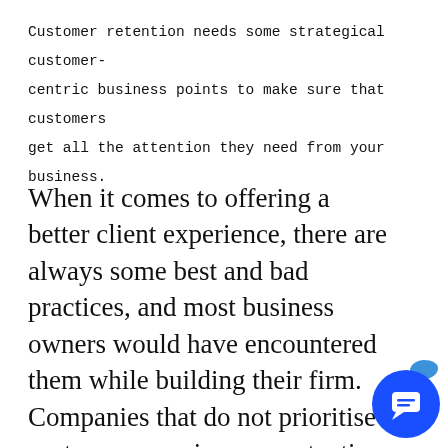Customer retention needs some strategical customer-centric business points to make sure that customers get all the attention they need from your business.
When it comes to offering a better client experience, there are always some best and bad practices, and most business owners would have encountered them while building their firm. Companies that do not prioritise customer experience or retention risk jeopardising their reputation and causing customers to defect to competitors. There's a chance that a significant number of clien switch. The business's loyalty is ruined, an will undoubtedly have an impact on the